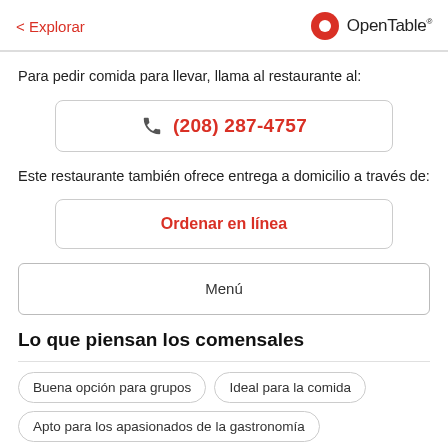< Explorar  OpenTable
Para pedir comida para llevar, llama al restaurante al:
(208) 287-4757
Este restaurante también ofrece entrega a domicilio a través de:
Ordenar en línea
Menú
Lo que piensan los comensales
Buena opción para grupos
Ideal para la comida
Apto para los apasionados de la gastronomía